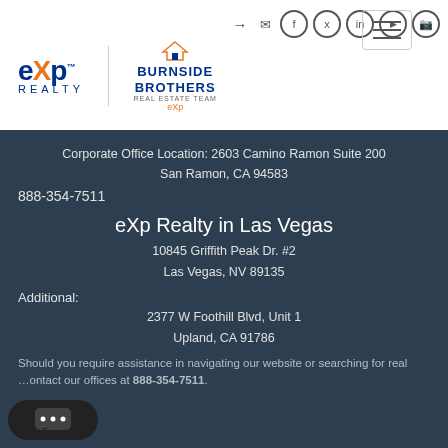[Figure (logo): eXp Realty logo and Burnside Brothers Real Estate Team logo side by side in the white header area]
Corporate Office Location: 2603 Camino Ramon Suite 200
San Ramon, CA 94583
888-354-7511
eXp Realty in Las Vegas
10845 Griffith Peak Dr. #2
Las Vegas, NV 89135
Additional:
2377 W Foothill Blvd, Unit 1
Upland, CA 91786
Should you require assistance in navigating our website or searching for real …ontact our offices at 888-354-7511.